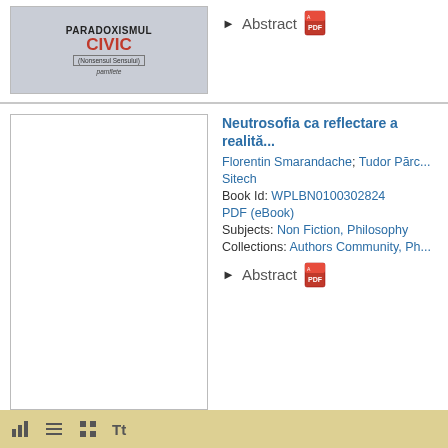[Figure (illustration): Book cover for 'Paradoxismul Civic' with gray background, bold title text, red CIVIC subtitle]
Abstract [PDF icon]
[Figure (illustration): Empty white book cover placeholder with border]
Neutrosofia ca reflectare a realită...
Florentin Smarandache; Tudor Părc...
Sitech
Book Id: WPLBN0100302824
PDF (eBook)
Subjects: Non Fiction, Philosophy
Collections: Authors Community, Ph...
Abstract [PDF icon]
toolbar icons: list view, grid view, text view